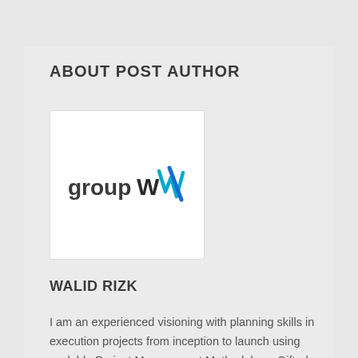ABOUT POST AUTHOR
[Figure (logo): GroupW logo — stylized text 'groupW' with a blue and teal checkmark/slash graphic]
WALID RIZK
I am an experienced visioning with planning skills in execution projects from inception to launch using scalable Project Management Methodology. Gifted with analytical skill having the ability to visualize, articulate, conceptualize or solve both complex and uncomplicated problems by making decisions that are sensible